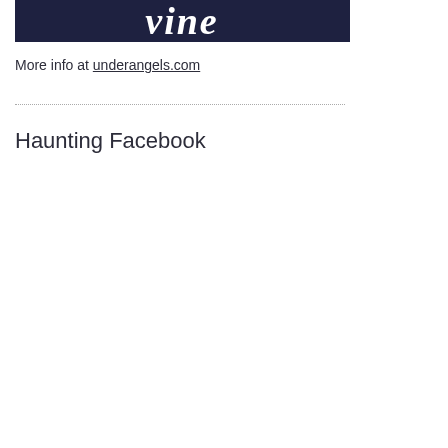[Figure (logo): Vine logo — white cursive 'vine' text on dark navy/indigo background]
More info at underangels.com
Haunting Facebook